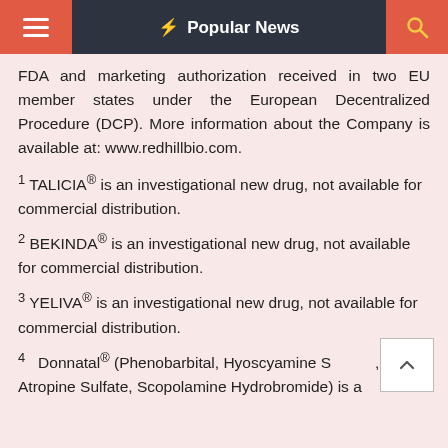Popular News
FDA and marketing authorization received in two EU member states under the European Decentralized Procedure (DCP). More information about the Company is available at: www.redhillbio.com.
1 TALICIA® is an investigational new drug, not available for commercial distribution.
2 BEKINDA® is an investigational new drug, not available for commercial distribution.
3 YELIVA® is an investigational new drug, not available for commercial distribution.
4 Donnatal® (Phenobarbital, Hyoscyamine S..., Atropine Sulfate, Scopolamine Hydrobromide) is a